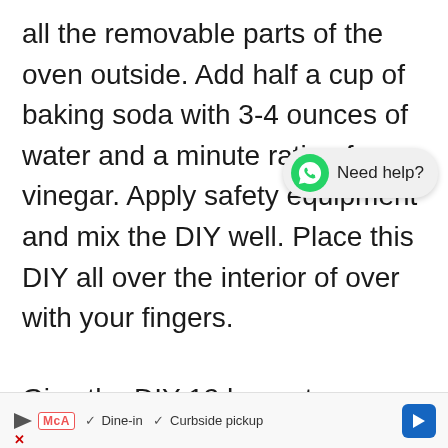all the removable parts of the oven outside. Add half a cup of baking soda with 3-4 ounces of water and a minute ratio of vinegar. Apply safety equipment and mix the DIY well. Place this DIY all over the interior of over with your fingers.

Give the DIY 12 hours to perform an action. In the remaining time apply the same mixture to racks and other removable parts. Also, leave it for 12
[Figure (other): WhatsApp chat bubble widget with green WhatsApp logo icon and text 'Need help?']
[Figure (other): Advertisement bar at bottom: play button icon, McA badge, checkmarks for Dine-in and Curbside pickup, blue navigation arrow icon, and X close button]